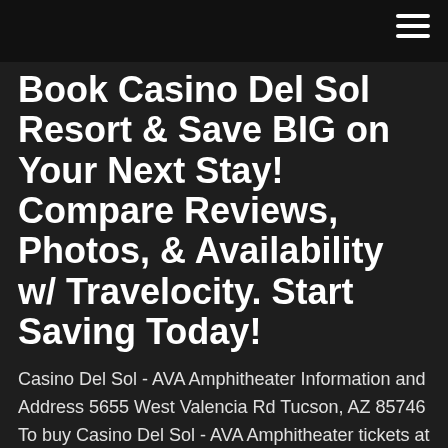Book Casino Del Sol Resort & Save BIG on Your Next Stay! Compare Reviews, Photos, & Availability w/ Travelocity. Start Saving Today!
Casino Del Sol - AVA Amphitheater Information and Address 5655 West Valencia Rd Tucson, AZ 85746 To buy Casino Del Sol - AVA Amphitheater tickets at low prices, choose your event below. The full Casino Del Sol - AVA Amphitheater schedule, venue information and Casino Del Sol - AVA Amphitheater seating chart are shown below. Casino Del Sol - Tucson's Premiere Luxury Resort & Casino Welcome to Casino Del Sol, Tucson's best casino and entertainment venue. Award-winning dining, spa, golf and gaming options